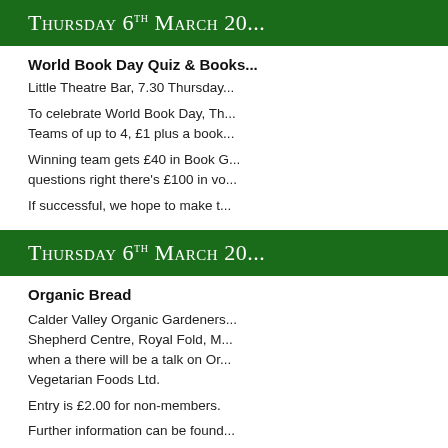Thursday 6th March 20...
World Book Day Quiz & Books...
Little Theatre Bar, 7.30 Thursday...
To celebrate World Book Day, Th... Teams of up to 4, £1 plus a book...
Winning team gets £40 in Book G... questions right there's £100 in vo...
If successful, we hope to make t...
Thursday 6th March 20...
Organic Bread
Calder Valley Organic Gardeners... Shepherd Centre, Royal Fold, M... when a there will be a talk on Or... Vegetarian Foods Ltd.
Entry is £2.00 for non-members.
Further information can be found...